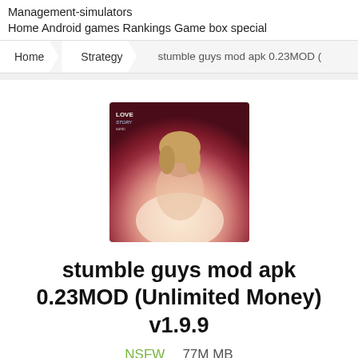Management-simulators
Home Android games Rankings Game box special
Home  Strategy  stumble guys mod apk 0.23MOD (Fre
[Figure (photo): App icon showing a woman with blonde hair against a reddish-pink background, with 'Love Story' text overlay]
stumble guys mod apk 0.23MOD (Unlimited Money) v1.9.9
NSFW  77M MB
Android Download